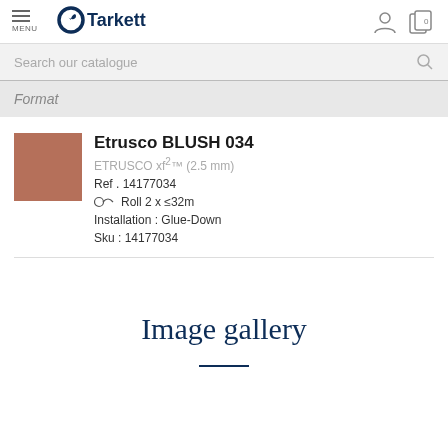MENU | Tarkett
Search our catalogue
Format
[Figure (illustration): Terracotta/blush colored square swatch for Etrusco BLUSH 034 flooring product]
Etrusco BLUSH 034
ETRUSCO xf²™ (2.5 mm)
Ref . 14177034
Roll 2 x ≤32m
Installation : Glue-Down
Sku : 14177034
Image gallery